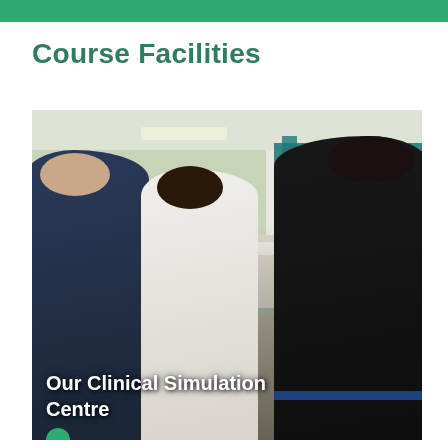Course Facilities
[Figure (photo): Three people sitting in a clinical simulation suite resembling a hospital ward. A nurse in white uniform sits in the center smiling, flanked by a man in dark blue clothing on the left and a person in dark clothing on the right. Hospital beds and teal curtains are visible in the background.]
Our Clinical Simulation Centre